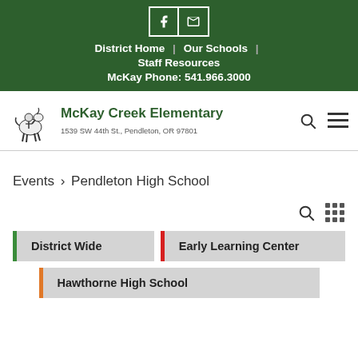District Home | Our Schools | Staff Resources
McKay Phone: 541.966.3000
[Figure (logo): McKay Creek Elementary school logo with horse mascot illustration. School name reads McKay Creek Elementary, address 1539 SW 44th St., Pendleton, OR 97801]
Events > Pendleton High School
District Wide
Early Learning Center
Hawthorne High School